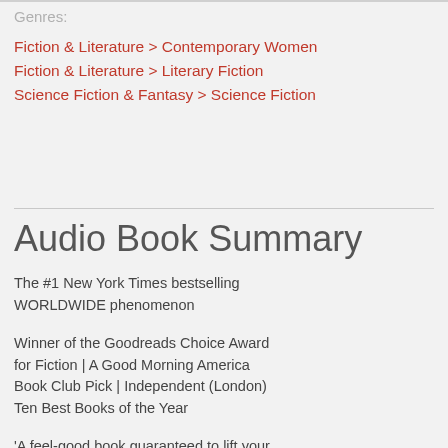Genres:
Fiction & Literature > Contemporary Women
Fiction & Literature > Literary Fiction
Science Fiction & Fantasy > Science Fiction
Audio Book Summary
The #1 New York Times bestselling WORLDWIDE phenomenon
Winner of the Goodreads Choice Award for Fiction | A Good Morning America Book Club Pick | Independent (London) Ten Best Books of the Year
'A feel-good book guaranteed to lift your